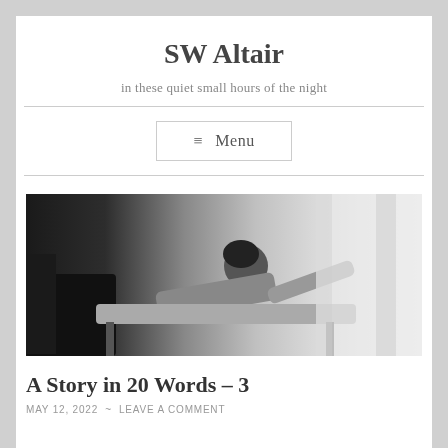SW Altair
in these quiet small hours of the night
≡ Menu
[Figure (photo): Black and white photograph of a woman reclining on a chair/chaise longue near a window with curtains, wearing a light-colored robe or dress]
A Story in 20 Words – 3
MAY 12, 2022 ~ LEAVE A COMMENT